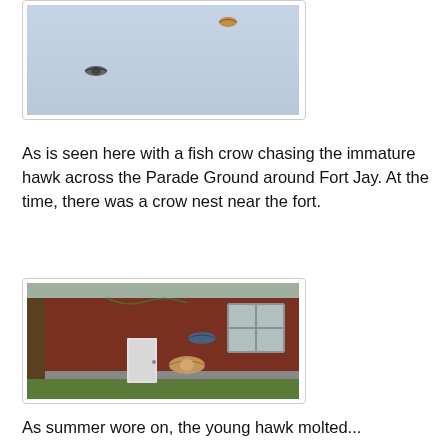[Figure (photo): Photo of sky (light blue-gray) with a hawk and a fish crow in flight]
As is seen here with a fish crow chasing the immature hawk across the Parade Ground around Fort Jay. At the time, there was a crow nest near the fort.
[Figure (photo): Photo of a red brick building with a white door, green lawn, and two birds in flight in front of the building — a crow chasing a hawk]
As summer wore on, the young hawk molted...